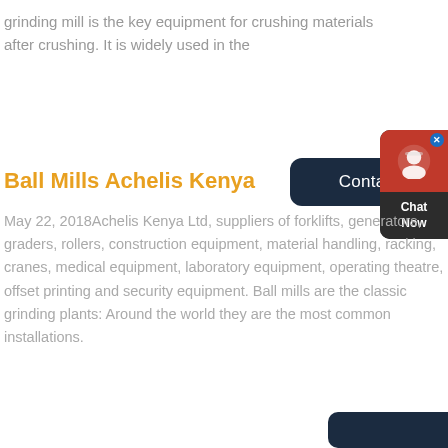grinding mill is the key equipment for crushing materials after crushing. It is widely used in the
[Figure (screenshot): Contact button (dark navy, rounded left) and chat widget (red top with headset icon, dark bottom with 'Chat Now' text)]
Ball Mills Achelis Kenya
May 22, 2018Achelis Kenya Ltd, suppliers of forklifts, generators, graders, rollers, construction equipment, material handling, racking, cranes, medical equipment, laboratory equipment, operating theatre, offset printing and security equipment. Ball mills are the classic grinding plants: Around the world they are the most common installations.